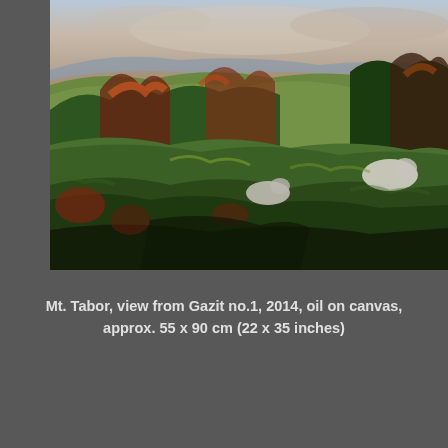[Figure (illustration): Oil painting titled 'Mt. Tabor, view from Gazit no.1, 2014'. Landscape painting showing rolling green hills with trees, shrubs in dark greens, reds and oranges, a pale sky with clouds and distant blue hills, and two white sheep or rocks in the foreground area. Impressionist brushwork style.]
Mt. Tabor, view from Gazit no.1, 2014, oil on canvas, approx. 55 x 90 cm (22 x 35 inches)